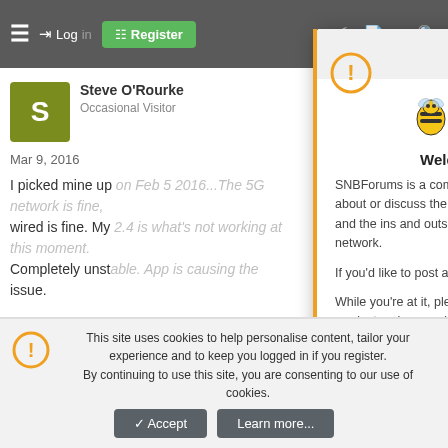[Figure (screenshot): SNBForums website screenshot with navigation bar showing hamburger menu, Login, Register button, and icons]
Steve O'Rourke
Occasional Visitor
Mar 9, 2016
I picked mine up on Feb 5 2016...The 5G network is fine, wired is fine. My 2.4 is what's not working at this moment. Completely unstable. App is causing the issue.
[Figure (screenshot): Welcome To SNBForums modal dialog with SNB bee logo and community description text]
Welcome To SNBForums
SNBForums is a community for anyone who wants to learn about or discuss the latest in wireless routers, network storage and the ins and outs of building and maintaining a small network.
If you'd like to post a question, simply register and have at it!
While you're at it, please check out SmallNetBuilder for product reviews and our famous Router Charts, Ranker and plenty more!
This site uses cookies to help personalise content, tailor your experience and to keep you logged in if you register.
By continuing to use this site, you are consenting to our use of cookies.